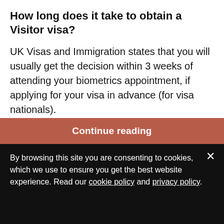How long does it take to obtain a Visitor visa?
UK Visas and Immigration states that you will usually get the decision within 3 weeks of attending your biometrics appointment, if applying for your visa in advance (for visa nationals).
How long is a Visitor visa valid for?
The length of your Standard Visitor visa will depend on how you applied for it:
Continue reading
By browsing this site you are consenting to cookies, which we use to ensure you get the best website experience. Read our cookie policy and privacy policy.